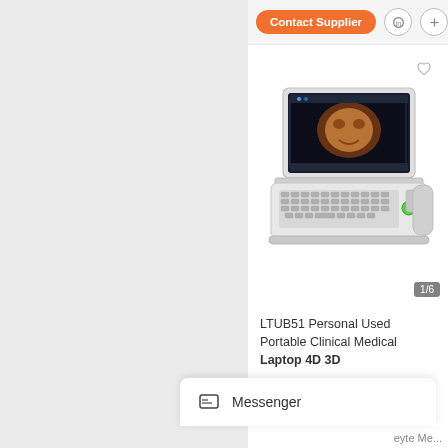Contact Supplier
[Figure (photo): Laptop-style portable ultrasound machine (LTUB51) showing a 3D/4D fetal image on its screen, white casing with keyboard and trackpad]
1/6
LTUB51 Personal Used Portable Clinical Medical Laptop 4D 3D
$6,300.00-$6,500.00/ Set
1.0 Sets (Min. Order)
Messenger
eyte Me...